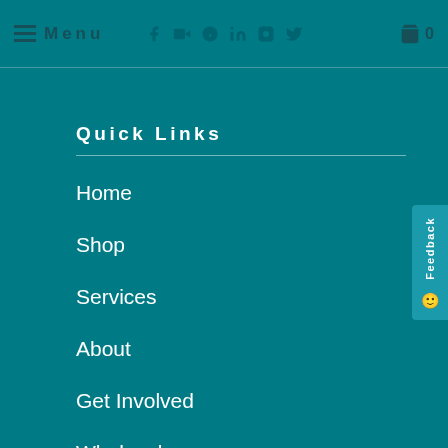Menu | social icons | 0
Quick Links
Home
Shop
Services
About
Get Involved
Wholesale
Stockists
Newsletter